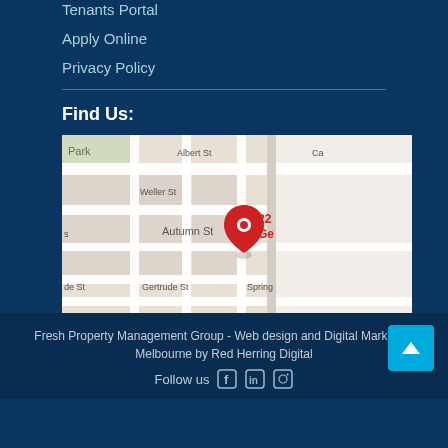Tenants Portal
Apply Online
Privacy Policy
Find Us:
[Figure (map): Google Maps screenshot showing location near Autumn St, Melbourne. Streets visible: Albert St, Weller St, Gertrude St, Spring St. Red location pin marked with '22 Ge...']
Fresh Property Management Group - Web design and Digital Marketing Melbourne by Red Herring Digital
Follow us
Follow us